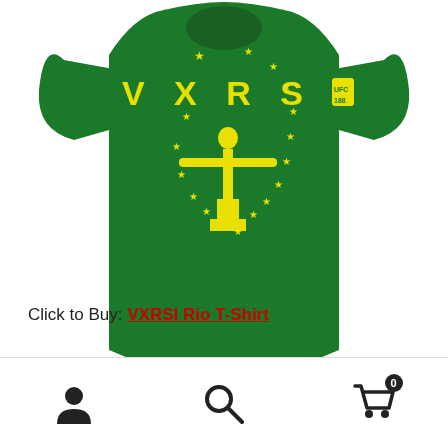[Figure (photo): Green VXRSI Rio t-shirt with yellow Christ the Redeemer graphic and stars on the front/back, displayed on a white background.]
Click to Buy: VXRSI Rio T-Shirt
[Figure (photo): Partial view of a red t-shirt with black collar, cropped at the bottom of the page.]
Navigation bar with user icon, search icon, and cart icon with badge showing 0